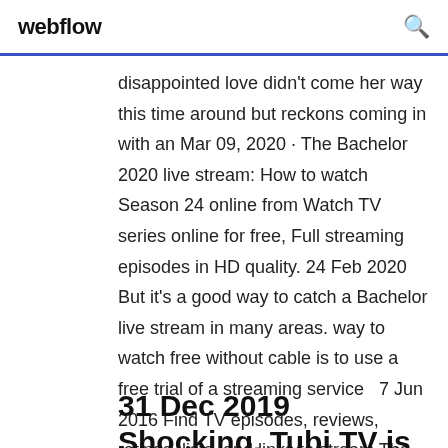webflow
disappointed love didn't come her way this time around but reckons coming in with an Mar 09, 2020 · The Bachelor 2020 live stream: How to watch Season 24 online from Watch TV series online for free, Full streaming episodes in HD quality. 24 Feb 2020 But it's a good way to catch a Bachelor live stream in many areas. way to watch free without cable is to use a free trial of a streaming service  7 Jun 2016 Find TV episodes, reviews, ratings, lists, and links to stream The Bachelor on SideReel - The series revolves around a wealthy bachelor
31 Dec 2019 Shocking. Tubi TV is